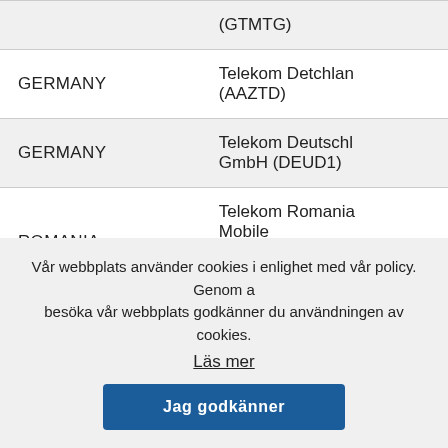| Country | Operator |
| --- | --- |
|  | (GTMTG) |
| GERMANY | Telekom Detchlan (AAZTD) |
| GERMANY | Telekom Deutschl GmbH (DEUD1) |
| ROMANIA | Telekom Romania Mobile Communications S (ROMCS) |
|  | Telekom Slo... |
Vår webbplats använder cookies i enlighet med vår policy. Genom a besöka vår webbplats godkänner du användningen av cookies.
Läs mer
Jag godkänner